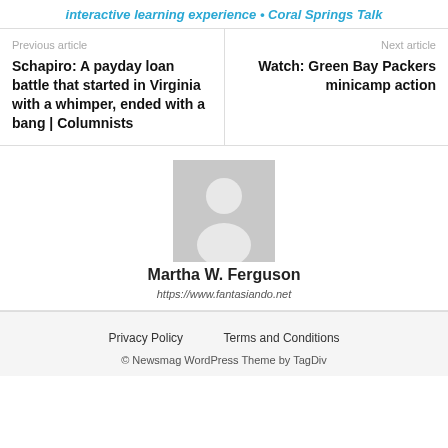interactive learning experience • Coral Springs Talk
Previous article
Schapiro: A payday loan battle that started in Virginia with a whimper, ended with a bang | Columnists
Next article
Watch: Green Bay Packers minicamp action
[Figure (photo): Default author avatar placeholder image - grey silhouette of a person on grey background]
Martha W. Ferguson
https://www.fantasiando.net
Privacy Policy    Terms and Conditions
© Newsmag WordPress Theme by TagDiv